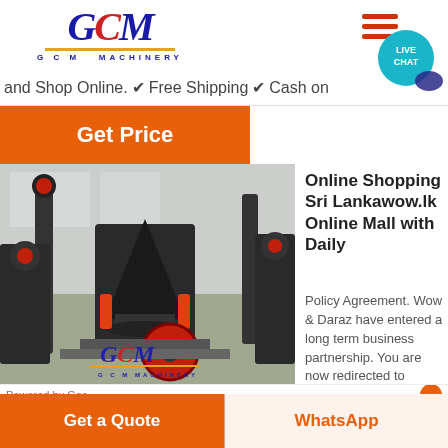[Figure (logo): GCM Machinery logo with blue italic GCM text, red C letter, gold underline, and G C M MACHINERY subtitle]
[Figure (infographic): Hamburger menu icon with three orange-red horizontal bars]
[Figure (infographic): Teal circular live chat bubble with speech tail, text: LIVE CHAT]
and Shop Online. ✔ Free Shipping ✔ Cash on
[Figure (other): Orange Get Price button]
[Figure (photo): Industrial machinery photo showing cone crusher equipment in a factory, with GCM Machinery logo watermark overlay]
Online Shopping Sri Lankawow.lk Online Mall with Daily
Policy Agreement. Wow & Daraz have entered a long term business partnership. You are now redirected to
[Figure (other): Get a Quote orange button at bottom left]
[Figure (other): WhatsApp button at bottom right with orange text on light background]